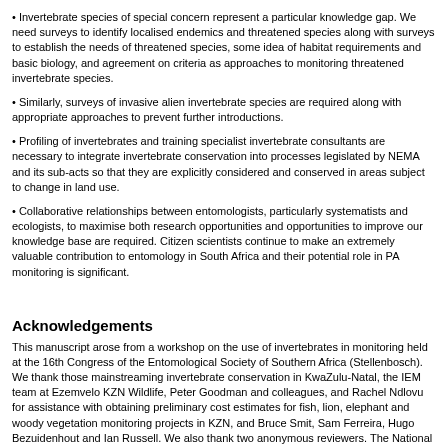• Invertebrate species of special concern represent a particular knowledge gap. We need surveys to identify localised endemics and threatened species along with surveys to establish the needs of threatened species, some idea of habitat requirements and basic biology, and agreement on criteria as approaches to monitoring threatened invertebrate species.
• Similarly, surveys of invasive alien invertebrate species are required along with appropriate approaches to prevent further introductions.
• Profiling of invertebrates and training specialist invertebrate consultants are necessary to integrate invertebrate conservation into processes legislated by NEMA and its sub-acts so that they are explicitly considered and conserved in areas subject to change in land use.
• Collaborative relationships between entomologists, particularly systematists and ecologists, to maximise both research opportunities and opportunities to improve our knowledge base are required. Citizen scientists continue to make an extremely valuable contribution to entomology in South Africa and their potential role in PA monitoring is significant.
Acknowledgements
This manuscript arose from a workshop on the use of invertebrates in monitoring held at the 16th Congress of the Entomological Society of Southern Africa (Stellenbosch). We thank those mainstreaming invertebrate conservation in KwaZulu-Natal, the IEM team at Ezemvelo KZN Wildlife, Peter Goodman and colleagues, and Rachel Ndlovu for assistance with obtaining preliminary cost estimates for fish, lion, elephant and woody vegetation monitoring projects in KZN, and Bruce Smit, Sam Ferreira, Hugo Bezuidenhout and Ian Russell. We also thank two anonymous reviewers. The National Research Foundation, Andrew W. Mellon Foundation and DST-NRF provided generous financial support.